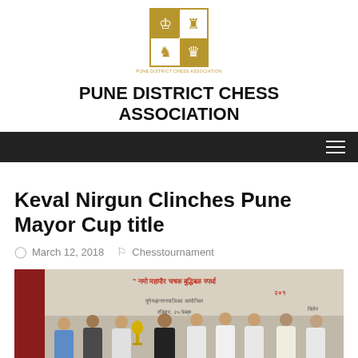[Figure (logo): Pune District Chess Association logo - a 2x2 grid with chess pieces (king, castle, knight, crown) in gold and white]
PUNE DISTRICT CHESS ASSOCIATION
Navigation bar with hamburger menu
Keval Nirgun Clinches Pune Mayor Cup title
March 12, 2018  Chesstournament
[Figure (photo): Group photo of people at a chess tournament award ceremony, with a trophy being presented. A banner in Marathi/Hindi is visible in the background with red text.]